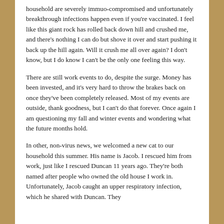household are severely immuo-compromised and unfortunately breakthrough infections happen even if you're vaccinated. I feel like this giant rock has rolled back down hill and crushed me, and there's nothing I can do but shove it over and start pushing it back up the hill again. Will it crush me all over again? I don't know, but I do know I can't be the only one feeling this way.
There are still work events to do, despite the surge. Money has been invested, and it's very hard to throw the brakes back on once they've been completely released. Most of my events are outside, thank goodness, but I can't do that forever. Once again I am questioning my fall and winter events and wondering what the future months hold.
In other, non-virus news, we welcomed a new cat to our household this summer. His name is Jacob. I rescued him from work, just like I rescued Duncan 11 years ago. They're both named after people who owned the old house I work in. Unfortunately, Jacob caught an upper respiratory infection, which he shared with Duncan. They